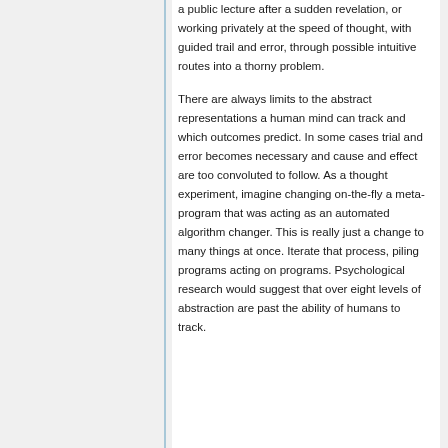a public lecture after a sudden revelation, or working privately at the speed of thought, with guided trail and error, through possible intuitive routes into a thorny problem.
There are always limits to the abstract representations a human mind can track and which outcomes predict. In some cases trial and error becomes necessary and cause and effect are too convoluted to follow. As a thought experiment, imagine changing on-the-fly a meta-program that was acting as an automated algorithm changer. This is really just a change to many things at once. Iterate that process, piling programs acting on programs. Psychological research would suggest that over eight levels of abstraction are past the ability of humans to track.